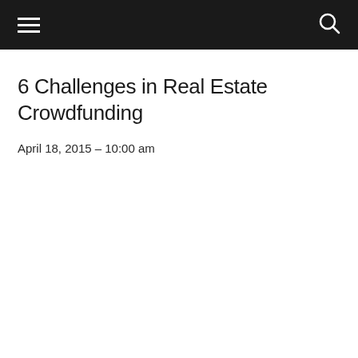6 Challenges in Real Estate Crowdfunding
April 18, 2015 – 10:00 am